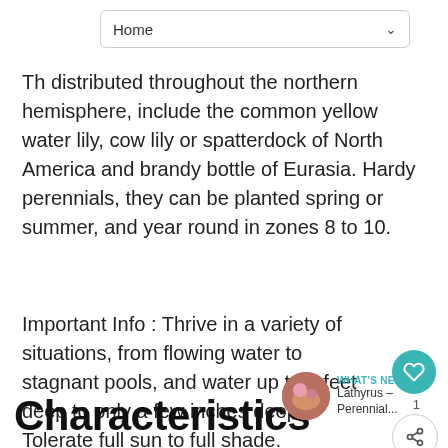Home
Th distributed throughout the northern hemisphere, include the common yellow water lily, cow lily or spatterdock of North America and brandy bottle of Eurasia. Hardy perennials, they can be planted spring or summer, and year round in zones 8 to 10.
Important Info : Thrive in a variety of situations, from flowing water to stagnant pools, and water up to 8 feet deep to only a few inches deep. Tolerate full sun to full shade. Google Plant Images: click here!
Characteristics